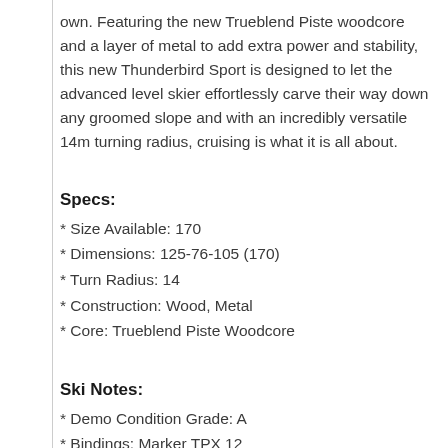own. Featuring the new Trueblend Piste woodcore and a layer of metal to add extra power and stability, this new Thunderbird Sport is designed to let the advanced level skier effortlessly carve their way down any groomed slope and with an incredibly versatile 14m turning radius, cruising is what it is all about.
Specs:
* Size Available: 170
* Dimensions: 125-76-105 (170)
* Turn Radius: 14
* Construction: Wood, Metal
* Core: Trueblend Piste Woodcore
Ski Notes:
* Demo Condition Grade: A
* Bindings: Marker TPX 12
* In-Stock, Ready to Ship
* Free Shipping (48 States)
* Pick-up available (Kingston Shop)